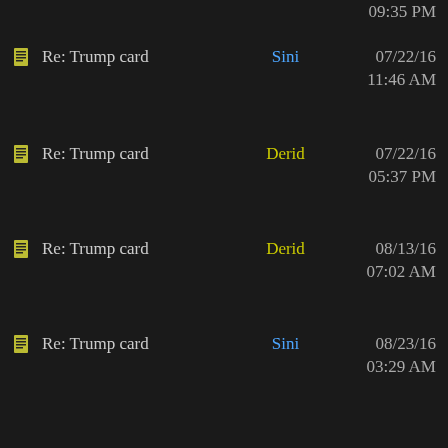09:35 PM
Re: Trump card | Sini | 07/22/16 11:46 AM
Re: Trump card | Derid | 07/22/16 05:37 PM
Re: Trump card | Derid | 08/13/16 07:02 AM
Re: Trump card | Sini | 08/23/16 03:29 AM
Re: Trump card | Wolfgang | 08/25/16 04:38 PM
Re: Trump card | Sini | 08/27/16 03:06 AM
Re: Trump card | Sini | 08/27/16 08:50 PM